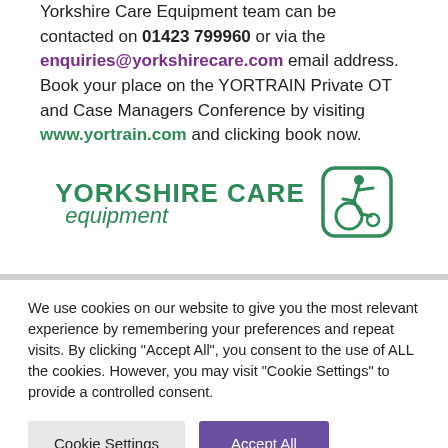Yorkshire Care Equipment team can be contacted on 01423 799960 or via the enquiries@yorkshirecare.com email address. Book your place on the YORTRAIN Private OT and Case Managers Conference by visiting www.yortrain.com and clicking book now.
[Figure (logo): Yorkshire Care Equipment logo with green text and wheelchair accessibility icon in green rounded square]
We use cookies on our website to give you the most relevant experience by remembering your preferences and repeat visits. By clicking "Accept All", you consent to the use of ALL the cookies. However, you may visit "Cookie Settings" to provide a controlled consent.